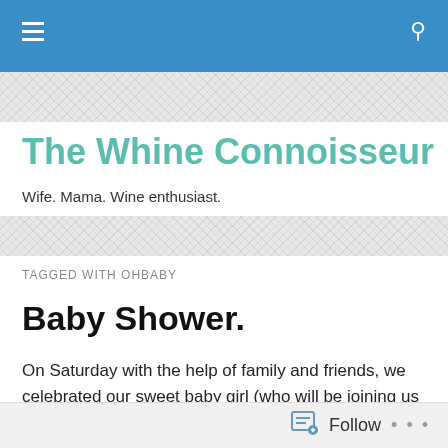The Whine Connoisseur — navigation bar
The Whine Connoisseur
Wife. Mama. Wine enthusiast.
TAGGED WITH OHBABY
Baby Shower.
On Saturday with the help of family and friends, we celebrated our sweet baby girl (who will be joining us in just 10 ish weeks!). Since before I even got pregnant with baby #2, I had envisioned a beautiful girly boho styled
Follow